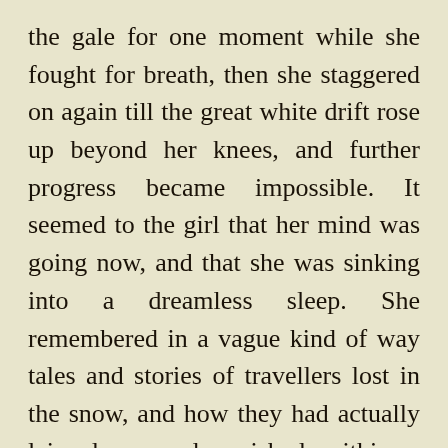the gale for one moment while she fought for breath, then she staggered on again till the great white drift rose up beyond her knees, and further progress became impossible. It seemed to the girl that her mind was going now, and that she was sinking into a dreamless sleep. She remembered in a vague kind of way tales and stories of travellers lost in the snow, and how they had actually lain down and perished within a stone's throw of warmth and safety.

With a great effort she struggled to her feet and attempted to push her way forward. It was just a chance now whether she made her way through or not, for the darkness was